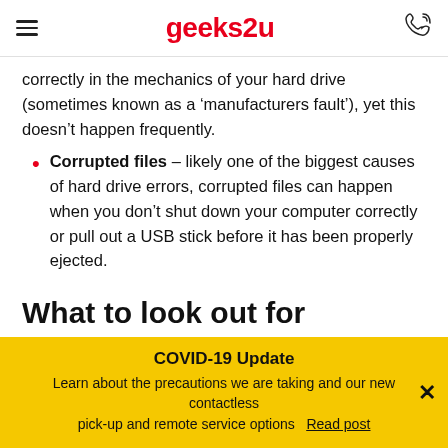geeks2u
correctly in the mechanics of your hard drive (sometimes known as a 'manufacturers fault'), yet this doesn't happen frequently.
Corrupted files – likely one of the biggest causes of hard drive errors, corrupted files can happen when you don't shut down your computer correctly or pull out a USB stick before it has been properly ejected.
What to look out for
If you suspect something might be wrong with your hard
COVID-19 Update
Learn about the precautions we are taking and our new contactless pick-up and remote service options  Read post